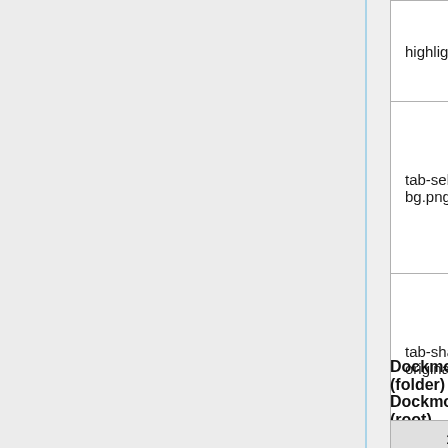| 1x Filename | 1x File Preview | 4x Filename | As... |
| --- | --- | --- | --- |
| highlight.png | [blue swatch] |  |  |
| tab-selected-bg.png | [dark swatch] |  |  |
| tab-shadow-original.png | [light gradient swatch] |  |  |
| tab-shadow.png | [light gradient swatch] |  |  |
Dockmode (folder)
Dockmode (root)
| 1x Filename | 1x File Preview | 4x Filename | As... |
| --- | --- | --- | --- |